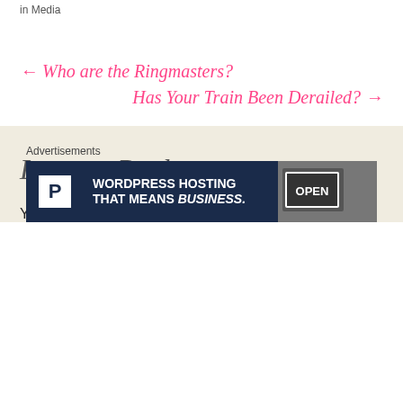in Media
← Who are the Ringmasters?
Has Your Train Been Derailed? →
Leave a Reply
You must be logged in to post a comment.
Advertisements
[Figure (photo): WordPress Hosting advertisement banner with dark navy background, WordPress P logo, text 'WORDPRESS HOSTING THAT MEANS BUSINESS.' and an Open sign photo on the right.]